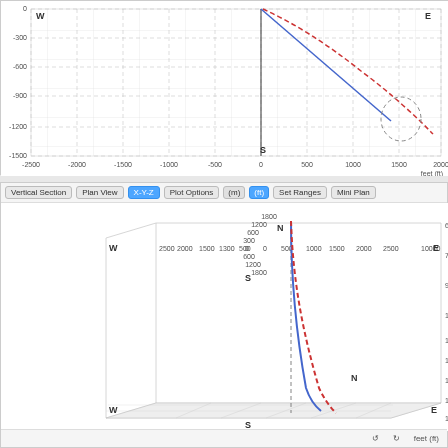[Figure (continuous-plot): Top panel: 2D plan/cross-section view showing two wellbore trajectories (blue solid line and red dashed line) plotted on a W-E / N-S coordinate grid. The x-axis ranges from approximately -2500 to 2500 feet, the y-axis from approximately -1500 to 0 feet. A dashed circle marks a region near coordinates (2000, -1100). Axis label shows 'feet (ft)'. Compass directions W, E, S are labeled.]
[Figure (continuous-plot): Bottom panel: 3D X-Y-Z view of wellbore trajectories showing two curves (blue solid and red dashed) descending through a 3D box. The box shows W-E / N-S plan view at bottom and depth axis on right ranging from approximately 6700 to 18500 feet. Toolbar shows buttons: Vertical Section, Plan View, X-Y-Z (active/blue), Plot Options, (m), (ft) (active/blue), Set Ranges, Mini Plan. Label 'N' appears partway down the trajectories. Compass W, E, N, S labeled on 3D axes.]